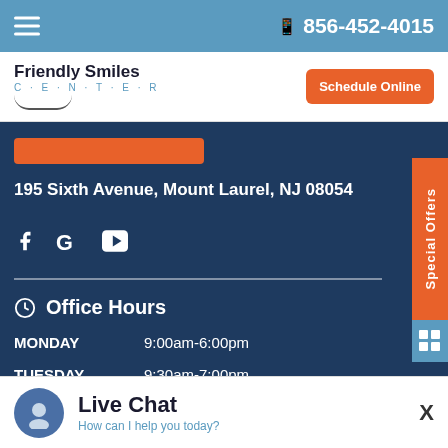856-452-4015
[Figure (logo): Friendly Smiles Center logo with text and smile graphic]
Schedule Online
195 Sixth Avenue, Mount Laurel, NJ 08054
[Figure (infographic): Social media icons: Facebook, Google, YouTube]
Office Hours
MONDAY   9:00am-6:00pm
TUESDAY   9:30am-7:00pm
WEDNESDAY   Closed
THURSDAY   9:30am-7:00pm
Special Offers
Live Chat
How can I help you today?